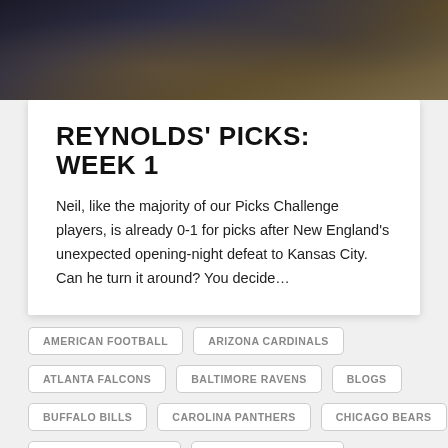[Figure (photo): Dark photo strip showing a person in a suit, partial view, dark background]
REYNOLDS' PICKS: WEEK 1
Neil, like the majority of our Picks Challenge players, is already 0-1 for picks after New England's unexpected opening-night defeat to Kansas City. Can he turn it around? You decide…
AMERICAN FOOTBALL
ARIZONA CARDINALS
ATLANTA FALCONS
BALTIMORE RAVENS
BLOGS
BUFFALO BILLS
CAROLINA PANTHERS
CHICAGO BEARS
CINCINNATI BENGALS
CLEVELAND BROWNS
DALLAS COWBOYS
DENVER BRONCOS
DETROIT LIONS
FOOTBALL
GREEN BAY PACKERS
GRIDIRON